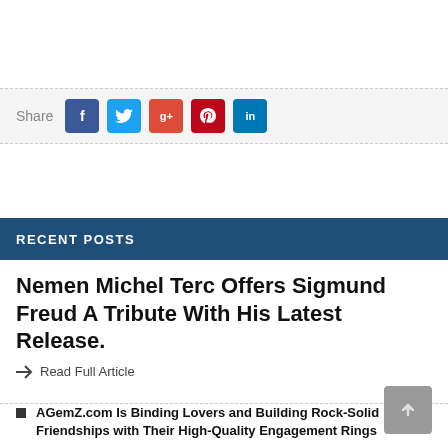[Figure (infographic): Social share bar with Share label and buttons: Facebook (f), Twitter (bird), Google+ (g+), Pinterest (p), LinkedIn (in)]
RECENT POSTS
Nemen Michel Terc Offers Sigmund Freud A Tribute With His Latest Release.
Read Full Article
AGemZ.com Is Binding Lovers and Building Rock-Solid Friendships with Their High-Quality Engagement Rings
REPT BATTERO Released Brand New “Wending” Battery